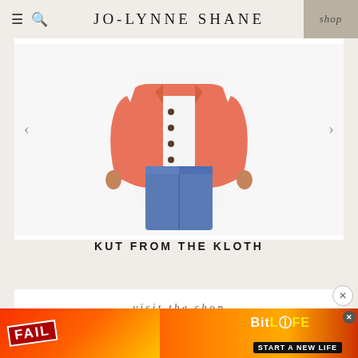JO-LYNNE SHANE | shop
[Figure (photo): Woman wearing a coral/salmon colored cropped jacket with blue jeans, product photo on white background]
KUT FROM THE KLOTH
visit the shop
Quick Links
[Figure (screenshot): BitLife mobile game advertisement banner with cartoon character and fire graphics, text: FAIL, BitLIFE, START A NEW LIFE]